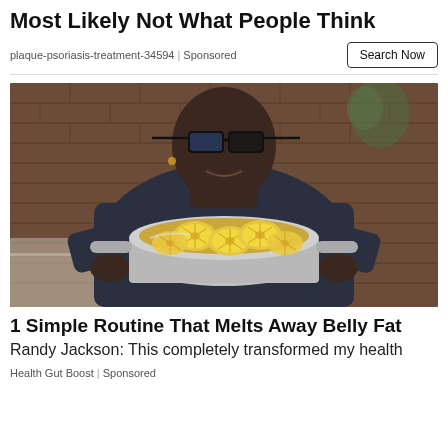Most Likely Not What People Think
plaque-psoriasis-treatment-34594 | Sponsored
Search Now
[Figure (photo): A man wearing large black-framed glasses and a dark patterned shirt holds up a silver pot containing lemon slices in liquid, set in a kitchen with brick wall background.]
1 Simple Routine That Melts Away Belly Fat
Randy Jackson: This completely transformed my health
Health Gut Boost | Sponsored